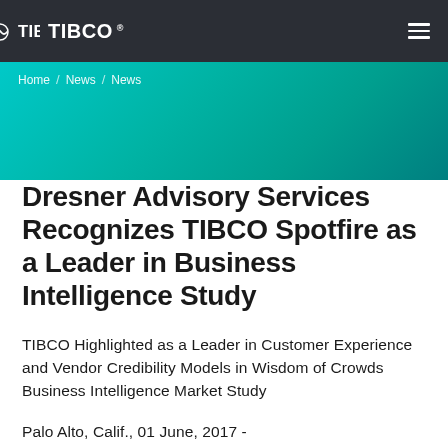TIBCO
Home / News / News
Dresner Advisory Services Recognizes TIBCO Spotfire as a Leader in Business Intelligence Study
TIBCO Highlighted as a Leader in Customer Experience and Vendor Credibility Models in Wisdom of Crowds Business Intelligence Market Study
Palo Alto, Calif., 01 June, 2017 -